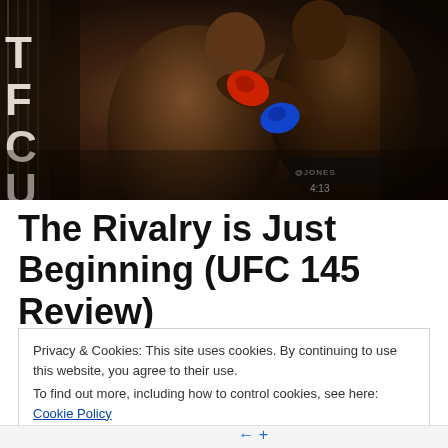[Figure (photo): Two MMA fighters in the UFC octagon exchanging punches. Both fighters are shirtless, seen from behind/side angle. The left fighter is throwing or receiving a punch. Red and blue gloves visible. Octagon fence with partial letters visible on the left. Timer watermark reading 4:13 at bottom right of image.]
The Rivalry is Just Beginning (UFC 145 Review)
Privacy & Cookies: This site uses cookies. By continuing to use this website, you agree to their use.
To find out more, including how to control cookies, see here: Cookie Policy
Close and accept